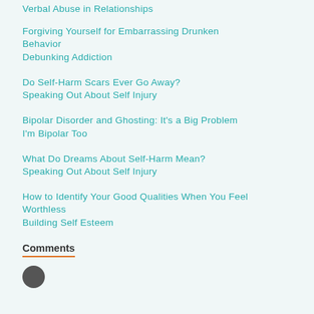Verbal Abuse in Relationships
Forgiving Yourself for Embarrassing Drunken Behavior
Debunking Addiction
Do Self-Harm Scars Ever Go Away?
Speaking Out About Self Injury
Bipolar Disorder and Ghosting: It's a Big Problem
I'm Bipolar Too
What Do Dreams About Self-Harm Mean?
Speaking Out About Self Injury
How to Identify Your Good Qualities When You Feel Worthless
Building Self Esteem
Comments